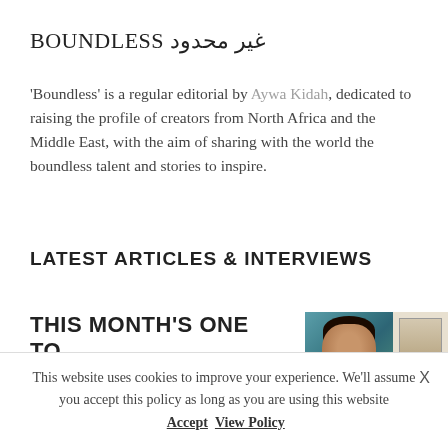BOUNDLESS غير محدود
'Boundless' is a regular editorial by Aywa Kidah, dedicated to raising the profile of creators from North Africa and the Middle East, with the aim of sharing with the world the boundless talent and stories to inspire.
LATEST ARTICLES & INTERVIEWS
THIS MONTH'S ONE TO
[Figure (photo): Two thumbnail images side by side: one showing a close-up portrait of a person with curly dark hair against a teal background, and another showing what appears to be an artwork or illustration.]
This website uses cookies to improve your experience. We'll assume you accept this policy as long as you are using this website  Accept  View Policy